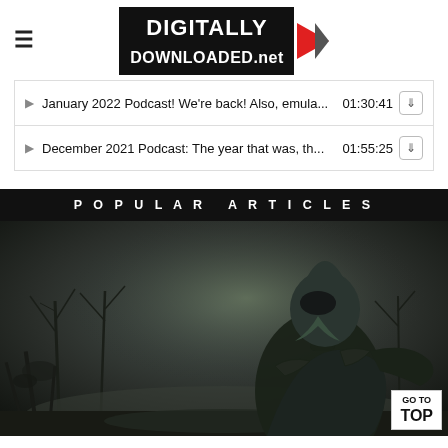DIGITALLY DOWNLOADED.net
January 2022 Podcast! We're back! Also, emula... 01:30:41
December 2021 Podcast: The year that was, th... 01:55:25
POPULAR ARTICLES
[Figure (photo): Dark fantasy game artwork showing a cloaked figure with a bird-like mask standing in a foggy, desolate landscape with bare trees and ruins in the background. A 'GO TO TOP' button is visible in the bottom-right corner.]